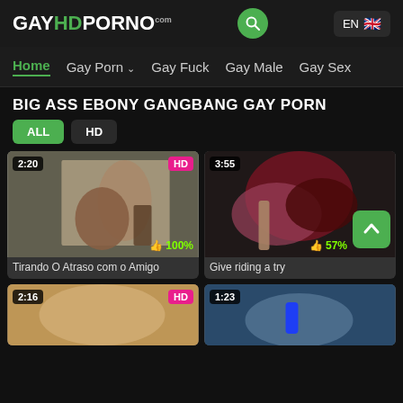GAYHDPORNO.com
Home | Gay Porn | Gay Fuck | Gay Male | Gay Sex
BIG ASS EBONY GANGBANG GAY PORN
ALL  HD
[Figure (screenshot): Video thumbnail showing two men, duration 2:20, HD badge, 100% rating. Title: Tirando O Atraso com o Amigo]
[Figure (screenshot): Video thumbnail, duration 3:55, 57% rating, scroll to top button. Title: Give riding a try]
[Figure (screenshot): Video thumbnail, duration 2:16, HD badge, partially visible bottom row]
[Figure (screenshot): Video thumbnail, duration 1:23, partially visible bottom row]